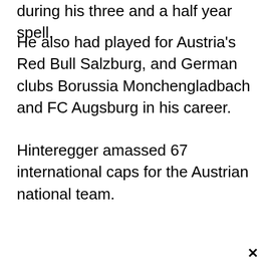during his three and a half year spell.
He also had played for Austria's Red Bull Salzburg, and German clubs Borussia Monchengladbach and FC Augsburg in his career.
Hinteregger amassed 67 international caps for the Austrian national team.